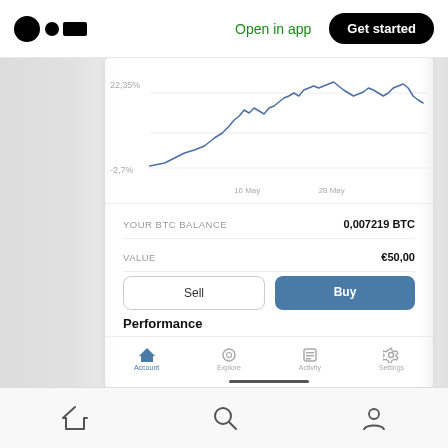[Figure (screenshot): Medium app header with logo, 'Open in app' link, and 'Get started' button]
[Figure (screenshot): Mobile app screenshot showing BTC price chart with labels -2.7% and 22.35%, balance display showing 0,007219 BTC and €50,00 value, Sell/Buy buttons, Performance section, and bottom nav with Account, Explore, Activity, Settings tabs]
[Figure (screenshot): Browser bottom navigation bar with home, search, and profile icons]